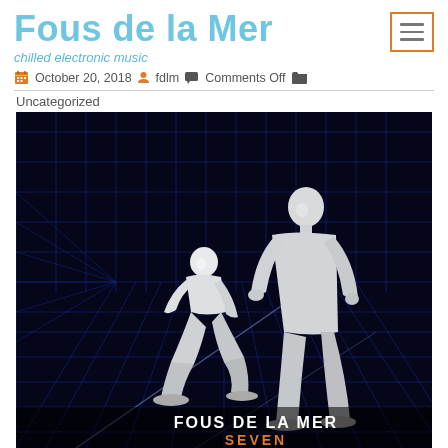Fous de la Mer
chilled electronic music
October 20, 2018  fdlm  Comments Off  Uncategorized
[Figure (illustration): Album cover for 'Fous de la Mer - Seven': two white 3D-rendered human figures (one crouching, one standing) inside a dark room with blue grid lines. Text at bottom reads 'FOUS DE LA MER' and 'SEVEN' in orange.]